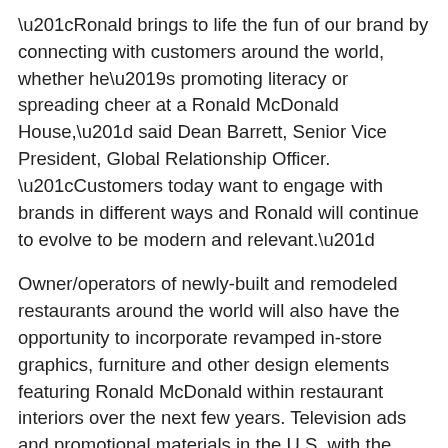“Ronald brings to life the fun of our brand by connecting with customers around the world, whether he’s promoting literacy or spreading cheer at a Ronald McDonald House,” said Dean Barrett, Senior Vice President, Global Relationship Officer. “Customers today want to engage with brands in different ways and Ronald will continue to evolve to be modern and relevant.”
Owner/operators of newly-built and remodeled restaurants around the world will also have the opportunity to incorporate revamped in-store graphics, furniture and other design elements featuring Ronald McDonald within restaurant interiors over the next few years. Television ads and promotional materials in the U.S. with the newly-reimaged Ronald will begin appearing later this year.
The 51-year-old Ronald McDonald will be sporting a new wardrobe, which includes yellow cargo pants and a vest, accompanied by a red-and-white striped rugby shirt. His iconic big red shoes will remain the same. Reserved for special occasions, Ronald has a whimsical new red blazer with the Golden Arches on the front pocket and his well-